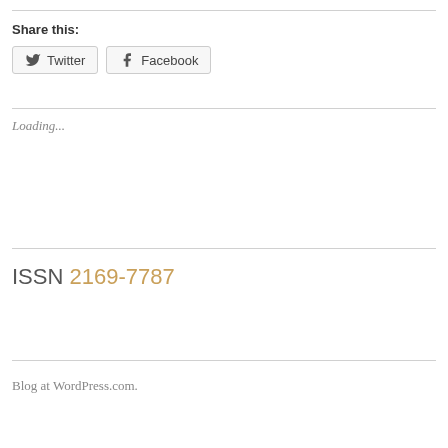Share this:
Twitter  Facebook
Loading...
ISSN 2169-7787
Blog at WordPress.com.